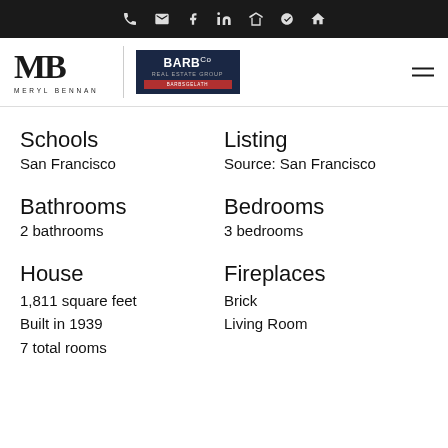Navigation icons: phone, email, Facebook, LinkedIn, Zillow, Yelp, realtor
[Figure (logo): MB / Meryl Bennan logo and BARB Co Real Estate Group logo]
Schools
San Francisco
Listing
Source: San Francisco
Bathrooms
2 bathrooms
Bedrooms
3 bedrooms
House
1,811 square feet
Built in 1939
7 total rooms
Fireplaces
Brick
Living Room